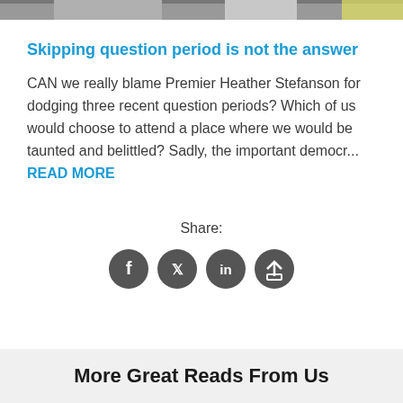[Figure (photo): Partial photo strip at top of page showing people, cropped]
Skipping question period is not the answer
CAN we really blame Premier Heather Stefanson for dodging three recent question periods? Which of us would choose to attend a place where we would be taunted and belittled? Sadly, the important democr... READ MORE
Share:
[Figure (infographic): Four social media share icons: Facebook, Twitter, LinkedIn, and a share/export icon]
More Great Reads From Us